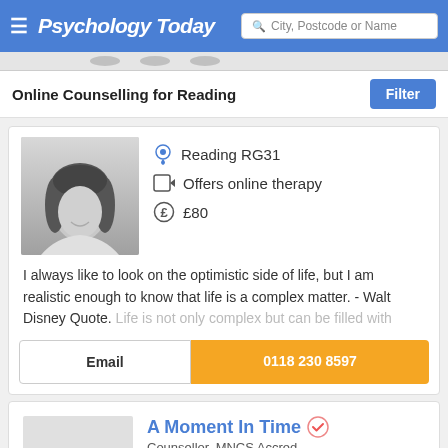Psychology Today — City, Postcode or Name search
Online Counselling for Reading
[Figure (photo): Black and white profile photo of a woman with dark hair]
Reading RG31
Offers online therapy
£80
I always like to look on the optimistic side of life, but I am realistic enough to know that life is a complex matter. - Walt Disney Quote. Life is not only complex but can be filled with
Email
0118 230 8597
A Moment In Time
Counsellor, MNCS Accred
Reading RG2
Offers online therapy